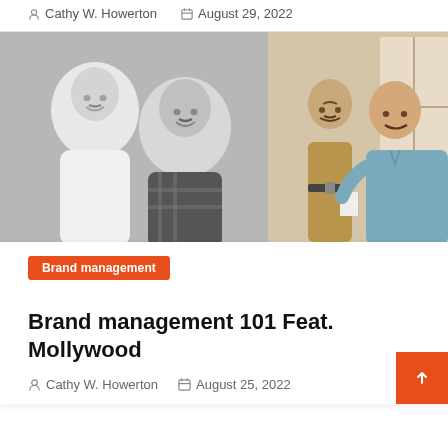Cathy W. Howerton  August 29, 2022
[Figure (photo): Composite image: left half is a black-and-white photo of two smiling men (one in white shirt, one in plaid), right half is a color photo of a man in a light blue shirt standing next to a uniformed police officer.]
Brand management
Brand management 101 Feat. Mollywood
Cathy W. Howerton   August 25, 2022